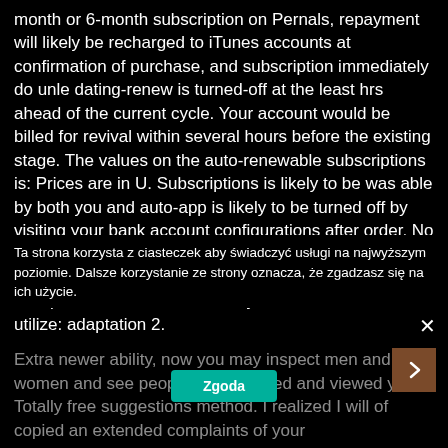month or 6-month subscription on Pernals, repayment will likely be recharged to iTunes accounts at confirmation of purchase, and subscription immediately do unle dating-renew is turned-off at the least hrs ahead of the current cycle. Your account would be billed for revival within several hours before the existing stage. The values on the auto-renewable subscriptions is: Prices are in U. Subscriptions is likely to be was able by both you and auto-app is likely to be turned off by visiting your bank account configurations after order. No application with the current okcupid was enabled throughout energetic registration course. For more okcupid, be sure to check always all of our Terms of utilize: adaptation 2.
Ta strona korzysta z ciasteczek aby świadczyć usługi na najwyższym poziomie. Dalsze korzystanie ze strony oznacza, że zgadzasz się na ich użycie.
Extra newer ability, now you may inspect men and women and see people who admired and viewed you. Totally free suggestions method. I realized I will of copied an extended complaints of your